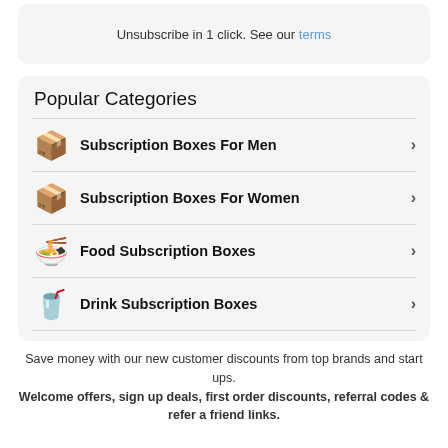Unsubscribe in 1 click. See our terms
Popular Categories
Subscription Boxes For Men
Subscription Boxes For Women
Food Subscription Boxes
Drink Subscription Boxes
Save money with our new customer discounts from top brands and start ups. Welcome offers, sign up deals, first order discounts, referral codes & refer a friend links.